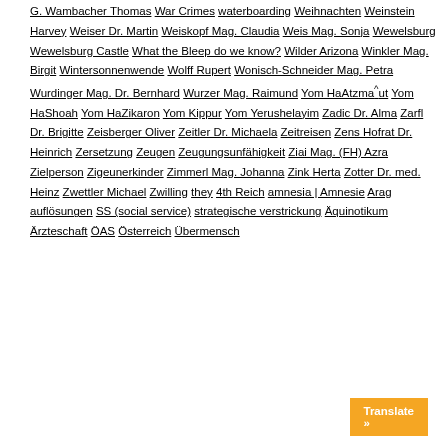G. Wambacher Thomas War Crimes waterboarding Weihnachten Weinstein Harvey Weiser Dr. Martin Weiskopf Mag. Claudia Weis Mag. Sonja Wewelsburg Wewelsburg Castle What the Bleep do we know? Wilder Arizona Winkler Mag. Birgit Wintersonnenwende Wolff Rupert Wonisch-Schneider Mag. Petra Wurdinger Mag. Dr. Bernhard Wurzer Mag. Raimund Yom HaAtzmaˆut Yom HaShoah Yom HaZikaron Yom Kippur Yom Yerushelayim Zadic Dr. Alma Zarfl Dr. Brigitte Zeisberger Oliver Zeitler Dr. Michaela Zeitreisen Zens Hofrat Dr. Heinrich Zersetzung Zeugen Zeugungsunfähigkeit Ziai Mag. (FH) Azra Zielperson Zigeunerkinder Zimmerl Mag. Johanna Zink Herta Zotter Dr. med. Heinz Zwettler Michael Zwilling they 4th Reich amnesia | Amnesie Arag auflösungen SS (social service) strategische verstrickung Äquinotikum Ärzteschaft ÖAS Österreich Übermensch